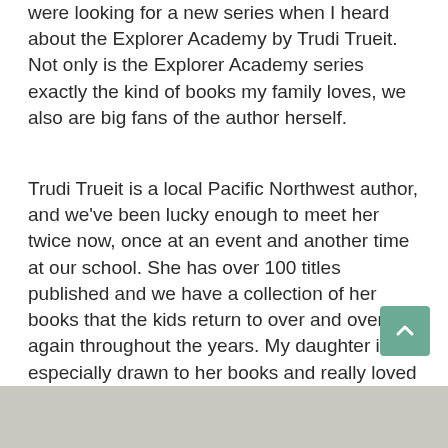were looking for a new series when I heard about the Explorer Academy by Trudi Trueit. Not only is the Explorer Academy series exactly the kind of books my family loves, we also are big fans of the author herself.
Trudi Trueit is a local Pacific Northwest author, and we've been lucky enough to meet her twice now, once at an event and another time at our school. She has over 100 titles published and we have a collection of her books that the kids return to over and over again throughout the years. My daughter is especially drawn to her books and really loved meeting her a few years back and getting some of her books sign
[Figure (photo): Partial photo strip visible at the bottom of the page, showing a light-colored surface, content cut off.]